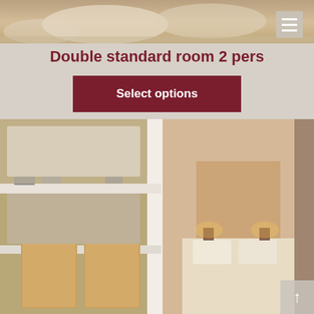[Figure (photo): Top strip photo of a hotel room with beige/cream bedding and pillows]
Double standard room 2 pers
Select options
[Figure (photo): Hotel room interior showing white bunk bed frame on the left and a double bed with warm lighting in the background on the right]